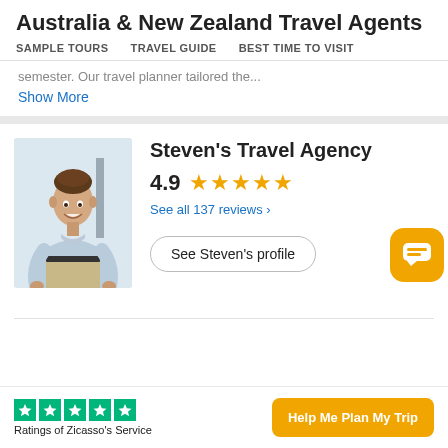Australia & New Zealand Travel Agents
SAMPLE TOURS   TRAVEL GUIDE   BEST TIME TO VISIT
semester. Our travel planner tailored the...
Show More
[Figure (photo): Professional headshot of a smiling man in a light blue shirt and khaki pants standing against a light background.]
Steven's Travel Agency
4.9 ★★★★★
See all 137 reviews ›
See Steven's profile
Ratings of Zicasso's Service
Help Me Plan My Trip